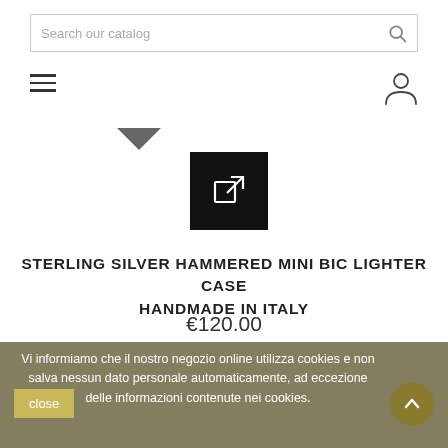Search our catalog
[Figure (screenshot): Hamburger menu icon (three horizontal lines)]
[Figure (screenshot): User/account icon (person silhouette)]
[Figure (screenshot): Dropdown chevron arrow pointing down]
[Figure (screenshot): Black square button with external link icon (arrow pointing out of box)]
STERLING SILVER HAMMERED MINI BIC LIGHTER CASE HANDMADE IN ITALY
€120.00
Vi informiamo che il nostro negozio online utilizza cookies e non salva nessun dato personale automaticamente, ad eccezione delle informazioni contenute nei cookies.